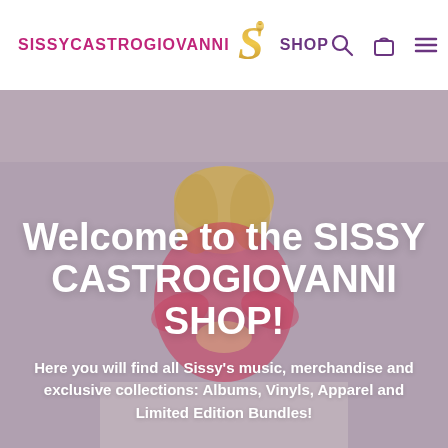[Figure (logo): Sissy Castrogiovanni Shop logo with golden S emblem, text in pink and purple]
[Figure (photo): Decorative colorful mosaic/cracked pattern banner strip in pastel colors]
[Figure (photo): Hero image of a woman with blonde hair sitting, overlaid with large white text. Background is muted mauve/purple tone.]
Welcome to the SISSY CASTROGIOVANNI SHOP!
Here you will find all Sissy's music, merchandise and exclusive collections: Albums, Vinyls, Apparel and Limited Edition Bundles!